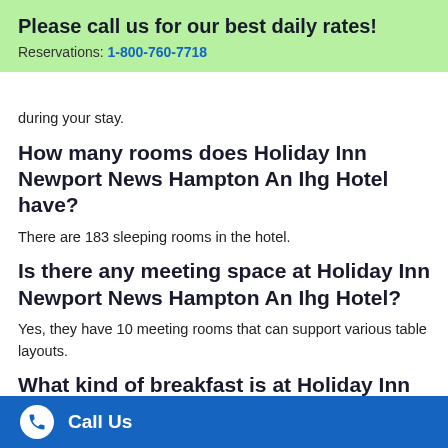Please call us for our best daily rates! Reservations: 1-800-760-7718
during your stay.
How many rooms does Holiday Inn Newport News Hampton An Ihg Hotel have?
There are 183 sleeping rooms in the hotel.
Is there any meeting space at Holiday Inn Newport News Hampton An Ihg Hotel?
Yes, they have 10 meeting rooms that can support various table layouts.
What kind of breakfast is at Holiday Inn Newport News Hampton An Ihg Hotel?
Breakfast is not included in the room rate but we offer a full
Call Us